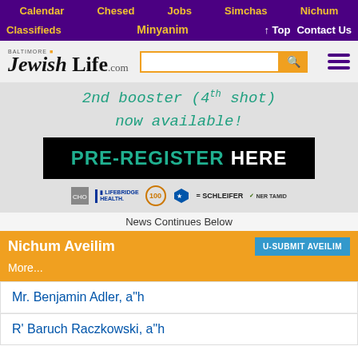Calendar  Chesed  Jobs  Simchas  Nichum
Classifieds  Minyanim  ↑ Top  Contact Us
[Figure (logo): Baltimore Jewish Life .com logo with search box and hamburger menu]
[Figure (photo): Advertisement image: handwritten text '2nd booster (4th shot) now available!' with PRE-REGISTER HERE button and sponsor logos: LifeBridge Health, 100, shield icon, Schleifer, Ner Tamid]
News Continues Below
Nichum Aveilim
More...
Mr. Benjamin Adler, a"h
R' Baruch Raczkowski, a"h